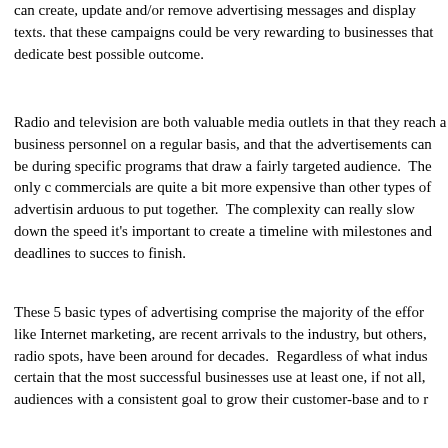can create, update and/or remove advertising messages and display texts. that these campaigns could be very rewarding to businesses that dedicate best possible outcome.
Radio and television are both valuable media outlets in that they reach a business personnel on a regular basis, and that the advertisements can be during specific programs that draw a fairly targeted audience. The only c commercials are quite a bit more expensive than other types of advertisin arduous to put together. The complexity can really slow down the speed it's important to create a timeline with milestones and deadlines to succes to finish.
These 5 basic types of advertising comprise the majority of the effor like Internet marketing, are recent arrivals to the industry, but others, radio spots, have been around for decades. Regardless of what indus certain that the most successful businesses use at least one, if not all, audiences with a consistent goal to grow their customer-base and to r